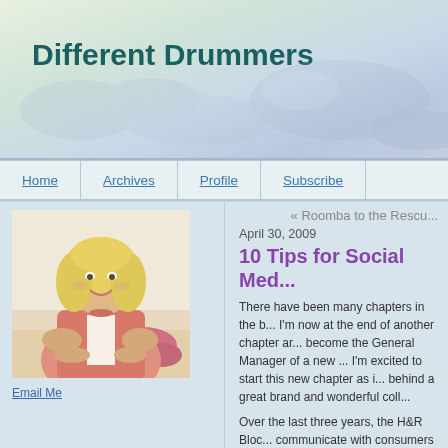Different Drummers
Home | Archives | Profile | Subscribe
[Figure (photo): Smiling blonde woman in pink blazer leaning on table with flowers]
Email Me
« Roomba to the Rescu...
April 30, 2009
10 Tips for Social Med...
There have been many chapters in the b... I'm now at the end of another chapter ar... become the General Manager of a new ... I'm excited to start this new chapter as i... behind a great brand and wonderful coll...
Over the last three years, the H&R Bloc... communicate with consumers differently... and been honored by positive mentions... Francois Gossieaux, Jeremiah Owyango...